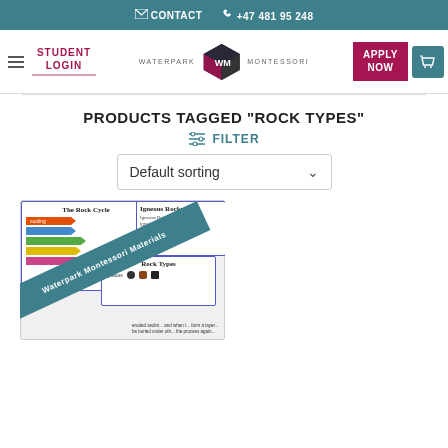CONTACT   +47 481 95 248
[Figure (screenshot): Waterpark Montessori navigation bar with hamburger menu, Student Login link, WM cube logo, Apply Now button, and cart icon]
PRODUCTS TAGGED “ROCK TYPES”
═ FILTER
Default sorting
[Figure (photo): Waterpark Montessori educational materials showing Rock Cycle, Igneous Rocks, and Rock Types worksheets with a diagonal teal banner reading 'Waterpark Montessori Materials']